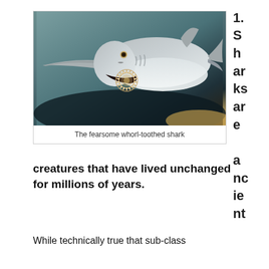[Figure (photo): Close-up photo/model of a whorl-toothed shark with a long pointed snout and circular tooth arrangement, against a teal/dark background]
The fearsome whorl-toothed shark
1. Sharks are ancient creatures that have lived unchanged for millions of years.
While technically true that sub-class